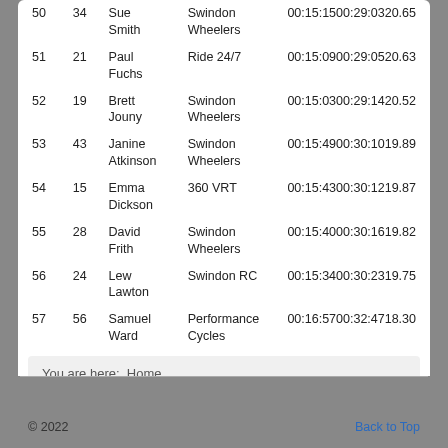| Pos | No | Name | Club | Times/Points |
| --- | --- | --- | --- | --- |
| 50 | 34 | Sue Smith | Swindon Wheelers | 00:15:1500:29:0320.65 |
| 51 | 21 | Paul Fuchs | Ride 24/7 | 00:15:0900:29:0520.63 |
| 52 | 19 | Brett Jouny | Swindon Wheelers | 00:15:0300:29:1420.52 |
| 53 | 43 | Janine Atkinson | Swindon Wheelers | 00:15:4900:30:1019.89 |
| 54 | 15 | Emma Dickson | 360 VRT | 00:15:4300:30:1219.87 |
| 55 | 28 | David Frith | Swindon Wheelers | 00:15:4000:30:1619.82 |
| 56 | 24 | Lew Lawton | Swindon RC | 00:15:3400:30:2319.75 |
| 57 | 56 | Samuel Ward | Performance Cycles | 00:16:5700:32:4718.30 |
You are here: Home
© 2022    Back to Top